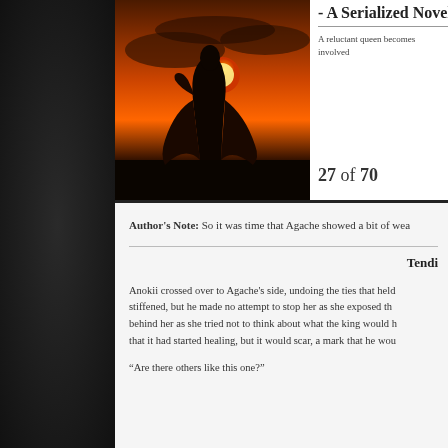- A Serialized Novel
A reluctant queen becomes involved
27 of 70
[Figure (photo): Book cover image showing a silhouetted figure in flowing robes against a dramatic sunset sky with orange and red clouds]
Author's Note: So it was time that Agache showed a bit of wea
Tendi
Anokii crossed over to Agache's side, undoing the ties that held stiffened, but he made no attempt to stop her as she exposed th behind her as she tried not to think about what the king would h that it had started healing, but it would scar, a mark that he wou
“Are there others like this one?”